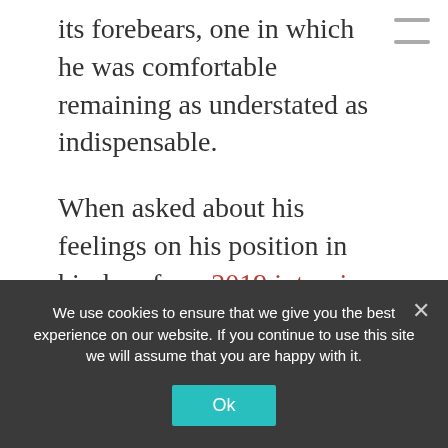its forebears, one in which he was comfortable remaining as understated as indispensable.
When asked about his feelings on his position in hip-hop for a 2019 interview with the Washington Post, Markie remarked, “It’s beautiful because it means all eyes ain’t on me, so when I do pop up they appreciate everything they see … It’s like the flowers outside that turn white on the bushes. It comes around when it’s getting ready to be springtime. You appreciate it.” It’s a prescient, telling quip. His wry sense of humor
We use cookies to ensure that we give you the best experience on our website. If you continue to use this site we will assume that you are happy with it.